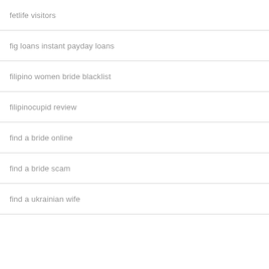fetlife visitors
fig loans instant payday loans
filipino women bride blacklist
filipinocupid review
find a bride online
find a bride scam
find a ukrainian wife